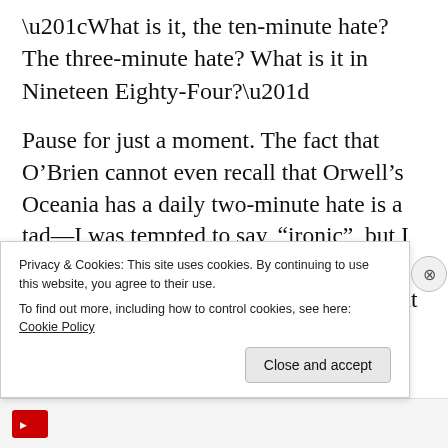“What is it, the ten-minute hate? The three-minute hate? What is it in Nineteen Eighty-Four?”
Pause for just a moment. The fact that O’Brien cannot even recall that Orwell’s Oceania has a daily two-minute hate is a tad—I was tempted to say, “ironic”, but I think I shall settle on pathetic. James, if you’re going to lecture other people about publishing inaccurate content it helps if you do some research and get your
Privacy & Cookies: This site uses cookies. By continuing to use this website, you agree to their use.
To find out more, including how to control cookies, see here: Cookie Policy
Close and accept